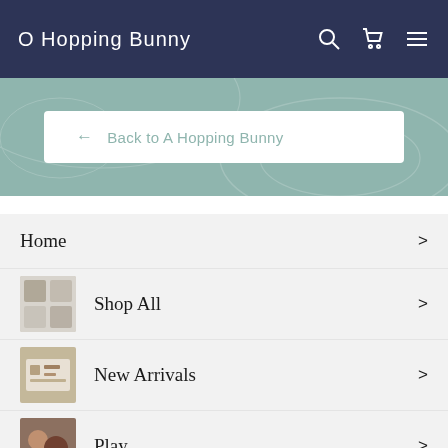A Hopping Bunny
← Back to A Hopping Bunny
Home
Shop All
New Arrivals
Play
Learn
Feed